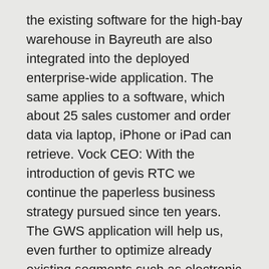the existing software for the high-bay warehouse in Bayreuth are also integrated into the deployed enterprise-wide application. The same applies to a software, which about 25 sales customer and order data via laptop, iPhone or iPad can retrieve. Vock CEO: With the introduction of gevis RTC we continue the paperless business strategy pursued since ten years. The GWS application will help us, even further to optimize already existing segments such as electronic archiving, automatic credit check and picking.” GWS Gesellschaft fur merchandise management systems mbH was founded in 1992. Today approximately 300 employees work at the sites of Munich, Munster, Nuremberg, Leonberg, Germany.
As a Microsoft GOLD CERTIFIED Global ISV partner has the GWS themselves on innovative inventory